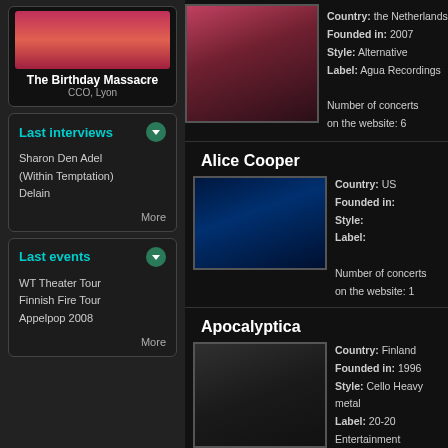The Birthday Massacre
CCO, Lyon
Last interviews
Sharon Den Adel (Within Temptation)
Delain
More
Last events
WT Theater Tour
Finnish Fire Tour
Appelpop 2008
More
[Figure (photo): Portrait photo of Sharon Den Adel from Within Temptation]
Country: the Netherlands
Founded in: 2007
Style: Alternative
Label: Agua Recordings

Number of concerts on the website: 6
Alice Cooper
[Figure (photo): Photo of Alice Cooper in dark blue stage lighting]
Country: US
Founded in:
Style:
Label:

Number of concerts on the website: 1
Apocalyptica
[Figure (photo): Group photo of Apocalyptica band members in dark outdoor setting]
Country: Finland
Founded in: 1996
Style: Cello Heavy metal
Label: 20-20 Entertainment

Number of concerts on the website: 1
Arch Enemy